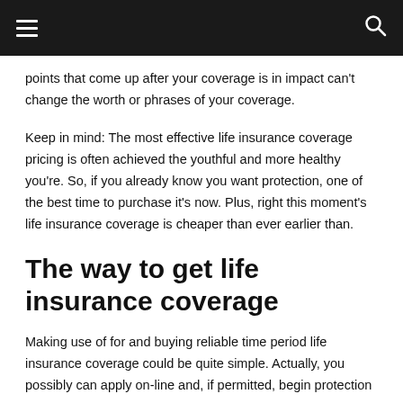[Navigation bar with hamburger menu and search icon]
points that come up after your coverage is in impact can't change the worth or phrases of your coverage.
Keep in mind: The most effective life insurance coverage pricing is often achieved the youthful and more healthy you're. So, if you already know you want protection, one of the best time to purchase it's now. Plus, right this moment's life insurance coverage is cheaper than ever earlier than.
The way to get life insurance coverage
Making use of for and buying reliable time period life insurance coverage could be quite simple. Actually, you possibly can apply on-line and, if permitted, begin protection